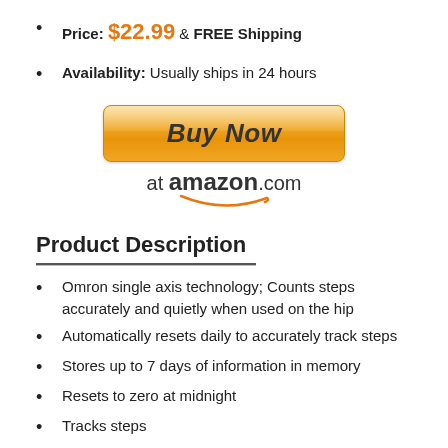Price: $22.99 & FREE Shipping
Availability: Usually ships in 24 hours
[Figure (other): Buy Now at amazon.com button with orange gradient button and Amazon smile logo]
Product Description
Omron single axis technology; Counts steps accurately and quietly when used on the hip
Automatically resets daily to accurately track steps
Stores up to 7 days of information in memory
Resets to zero at midnight
Tracks steps
Product Description: Omron® HJ-150